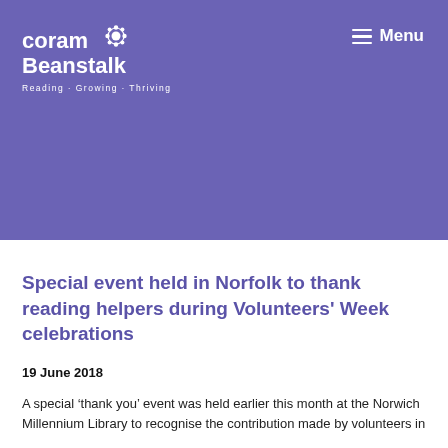Coram Beanstalk - Reading · Growing · Thriving | Menu
Special event held in Norfolk to thank reading helpers during Volunteers' Week celebrations
19 June 2018
A special ‘thank you’ event was held earlier this month at the Norwich Millennium Library to recognise the contribution made by volunteers in